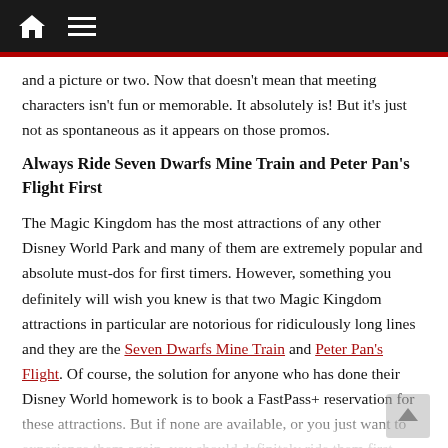Navigation bar with home icon and menu icon
and a picture or two. Now that doesn't mean that meeting characters isn't fun or memorable. It absolutely is! But it's just not as spontaneous as it appears on those promos.
Always Ride Seven Dwarfs Mine Train and Peter Pan's Flight First
The Magic Kingdom has the most attractions of any other Disney World Park and many of them are extremely popular and absolute must-dos for first timers. However, something you definitely will wish you knew is that two Magic Kingdom attractions in particular are notorious for ridiculously long lines and they are the Seven Dwarfs Mine Train and Peter Pan's Flight. Of course, the solution for anyone who has done their Disney World homework is to book a FastPass+ reservation for these attractions. But if none are available, or you just want to experience them again, you should definitely ride them first.